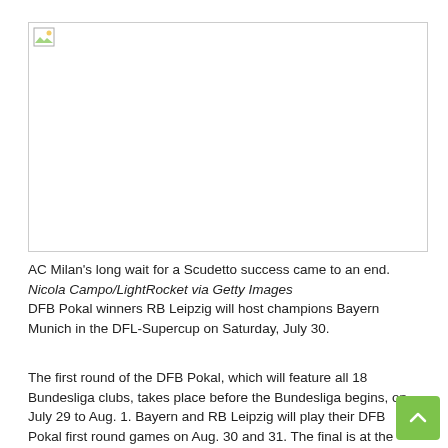[Figure (photo): Broken/unloaded image placeholder showing a small landscape icon in top-left corner with a white rectangle and border]
AC Milan’s long wait for a Scudetto success came to an end. Nicola Campo/LightRocket via Getty Images
DFB Pokal winners RB Leipzig will host champions Bayern Munich in the DFL-Supercup on Saturday, July 30.
The first round of the DFB Pokal, which will feature all 18 Bundesliga clubs, takes place before the Bundesliga begins, on July 29 to Aug. 1. Bayern and RB Leipzig will play their DFB Pokal first round games on Aug. 30 and 31. The final is at the Olympiastadion in Berlin on June 3.